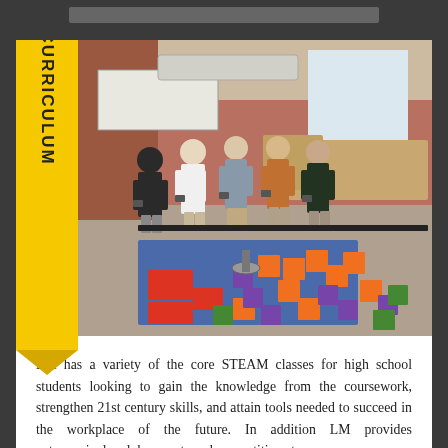[Figure (photo): Yellow ribbon/banner with 'STEAM CURRICULUM' text rotated vertically on left side, next to a classroom photo showing five high school students standing around a robotics competition field with colorful foam cubes (orange, purple, green) on the floor and robots visible.]
LM has a variety of the core STEAM classes for high school students looking to gain the knowledge from the coursework, strengthen 21st century skills, and attain tools needed to succeed in the workplace of the future. In addition LM provides extracurricular clubs, sports and competitions to